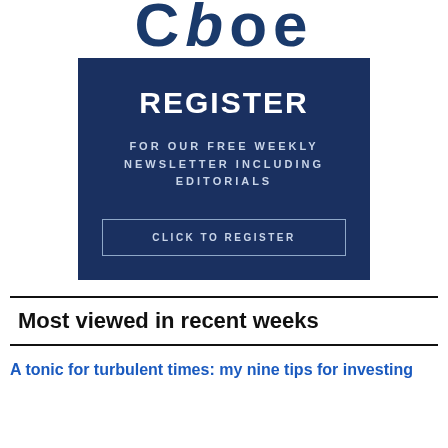Cboe
[Figure (infographic): Dark blue registration box with bold white 'REGISTER' heading, 'FOR OUR FREE WEEKLY NEWSLETTER INCLUDING EDITORIALS' subtext in spaced uppercase light blue, and a 'CLICK TO REGISTER' button with border]
Most viewed in recent weeks
A tonic for turbulent times: my nine tips for investing